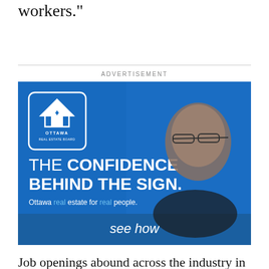workers."
[Figure (photo): Ottawa Real Estate Board advertisement. A middle-aged man with glasses and grey hair smiling with arms crossed. Blue background. Text reads: 'THE CONFIDENCE BEHIND THE SIGN. Ottawa real estate for real people. see how' with Ottawa Real Estate Board logo in top left corner.]
Job openings abound across the industry in both fast food and full-service restaurants.
But the problem is restaurant is inhibited...